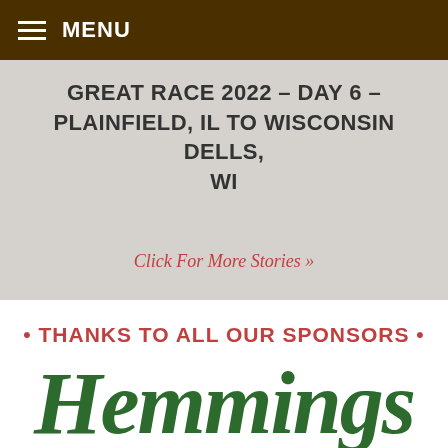MENU
GREAT RACE 2022 – DAY 6 – PLAINFIELD, IL TO WISCONSIN DELLS, WI
Click For More Stories »
• THANKS TO ALL OUR SPONSORS •
[Figure (logo): Hemmings logo in dark green italic script font, partially visible at bottom of page]